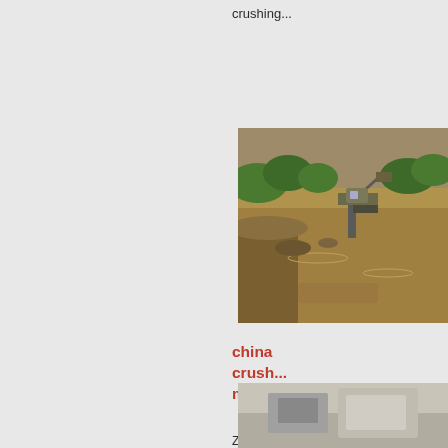crushing...
[Figure (photo): Outdoor mining/crushing site with machinery near a river, muddy terrain]
china crushing more
Zenith Impact FOB Pr Piece O Video M 100, 13 Piece N